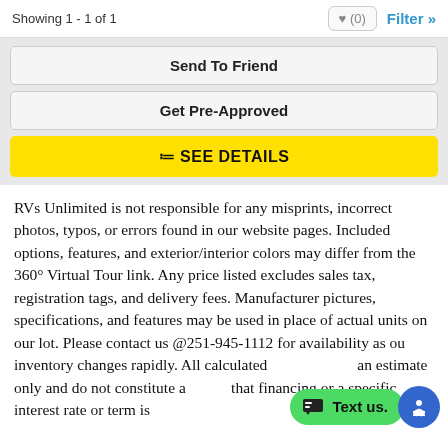Showing 1 - 1 of 1
Send To Friend
Get Pre-Approved
≔ SEE DETAILS
RVs Unlimited is not responsible for any misprints, incorrect photos, typos, or errors found in our website pages. Included options, features, and exterior/interior colors may differ from the 360° Virtual Tour link. Any price listed excludes sales tax, registration tags, and delivery fees. Manufacturer pictures, specifications, and features may be used in place of actual units on our lot. Please contact us @251-945-1112 for availability as our inventory changes rapidly. All calculated an estimate only and do not constitute a that financing or a specific interest rate or term is